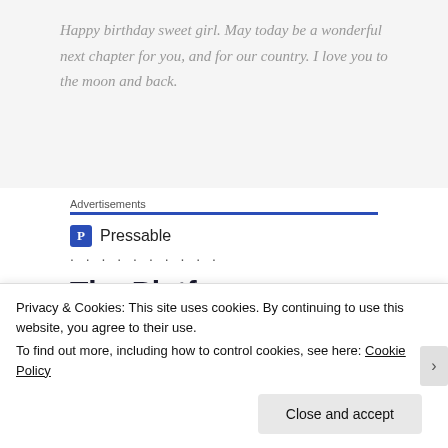Happy birthday sweet girl. May today be a wonderful next chapter for you, and for our country. I love you to the moon and back.
Advertisements
[Figure (logo): Pressable logo with blue P icon and text 'Pressable']
The Platform Where WordPress
Privacy & Cookies: This site uses cookies. By continuing to use this website, you agree to their use. To find out more, including how to control cookies, see here: Cookie Policy